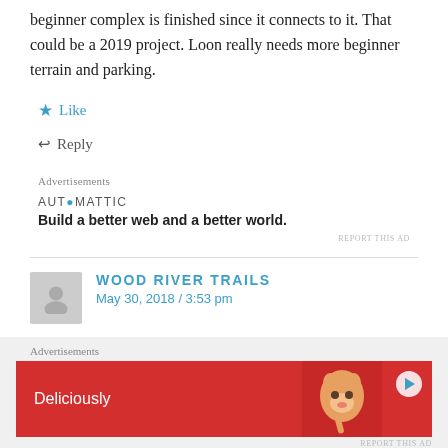beginner complex is finished since it connects to it. That could be a 2019 project. Loon really needs more beginner terrain and parking.
Like
Reply
Advertisements
AUTOMATTIC
Build a better web and a better world.
REPORT THIS AD
WOOD RIVER TRAILS
May 30, 2018 / 3:53 pm
Advertisements
[Figure (other): Advertisement banner with red background showing a cat and text 'Deliciously' with a play button]
REPORT THIS AD